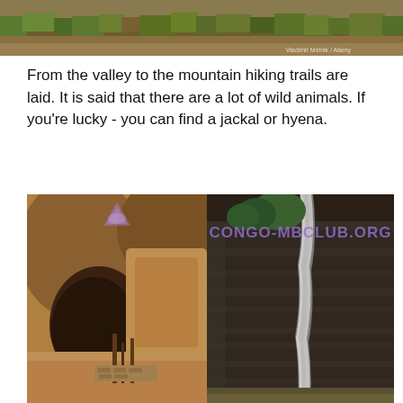[Figure (photo): Wide landscape photo showing dry scrubland vegetation, grasses and shrubs in muted greens and browns, with a small watermark in the bottom right corner.]
From the valley to the mountain hiking trails are laid. It is said that there are a lot of wild animals. If you're lucky - you can find a jackal or hyena.
[Figure (photo): Photo of a rocky canyon cave/arch formation with sandy desert ground and wooden fence posts visible inside.]
[Figure (photo): Photo of a dark rocky cliff face with a waterfall cascading down it, with some green trees visible at top. Watermark text 'CONGO-MBCLUB.ORG' overlaid in purple.]